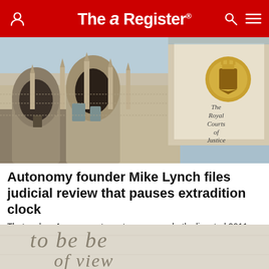The Register
[Figure (photo): Exterior photograph of the Royal Courts of Justice building in London, showing Gothic architecture with ornate stone arches and a banner reading 'The Royal Courts of Justice']
Autonomy founder Mike Lynch files judicial review that pauses extradition clock
That makes 4 concurrent court cases over hotly disputed 2011 buyout
LEGAL   17 Dec 2021 | 32
[Figure (photo): Close-up of a document with cursive text reading 'to be be...' and 'of view']